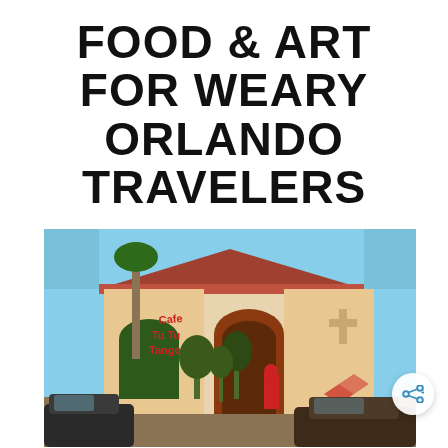FOOD & ART FOR WEARY ORLANDO TRAVELERS
[Figure (photo): Exterior photo of Cafe Tu Tu Tango, a Spanish-style building with red tile roof, arched entrance, palm trees, and decorative red artwork near the entrance. Cars visible in foreground.]
Orlando is a city of theme parks, tourists, and